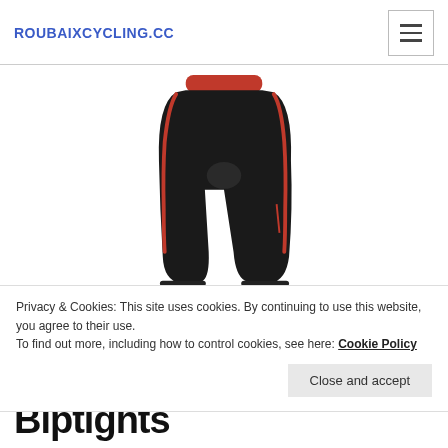ROUBAIXCYCLING.CC
[Figure (photo): Black cycling bib tights with red trim at the waist, photographed against a white background]
Privacy & Cookies: This site uses cookies. By continuing to use this website, you agree to their use.
To find out more, including how to control cookies, see here: Cookie Policy
Close and accept
Biptights